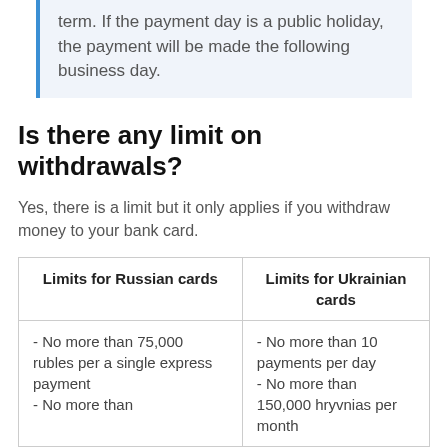term. If the payment day is a public holiday, the payment will be made the following business day.
Is there any limit on withdrawals?
Yes, there is a limit but it only applies if you withdraw money to your bank card.
| Limits for Russian cards | Limits for Ukrainian cards |
| --- | --- |
| - No more than 75,000 rubles per a single express payment
- No more than | - No more than 10 payments per day
- No more than 150,000 hryvnias per month |